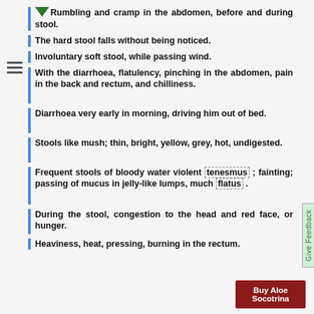Rumbling and cramp in the abdomen, before and during stool.
The hard stool falls without being noticed.
Involuntary soft stool, while passing wind.
With the diarrhoea, flatulency, pinching in the abdomen, pain in the back and rectum, and chilliness.
Diarrhoea very early in morning, driving him out of bed.
Stools like mush; thin, bright, yellow, grey, hot, undigested.
Frequent stools of bloody water violent tenesmus ; fainting; passing of mucus in jelly-like lumps, much flatus .
During the stool, congestion to the head and red face, or hunger.
Heaviness, heat, pressing, burning in the rectum.